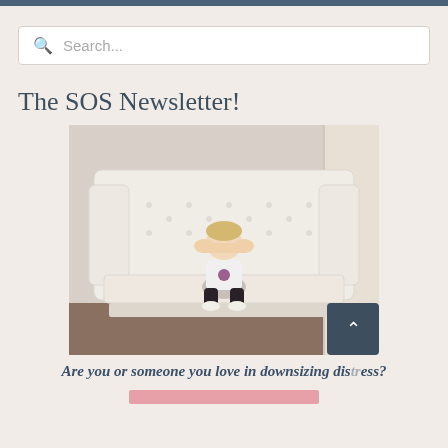Search...
The SOS Newsletter!
[Figure (photo): A young toddler with blonde hair sitting on a large white tufted wingback sofa/loveseat, covering their eyes with their hands playfully. Light curtains are visible on the right side.]
Are you or someone you love in downsizing distress?